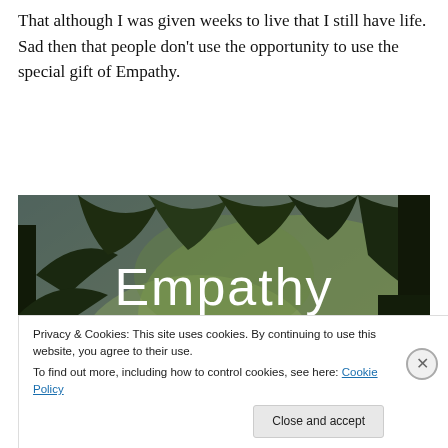That although I was given weeks to live that I still have life. Sad then that people don't use the opportunity to use the special gift of Empathy.
[Figure (photo): Forest/jungle scene with dark tree silhouettes against lighter background, overlaid with large white text reading 'Empathy is a gift that's simple']
Privacy & Cookies: This site uses cookies. By continuing to use this website, you agree to their use.
To find out more, including how to control cookies, see here: Cookie Policy